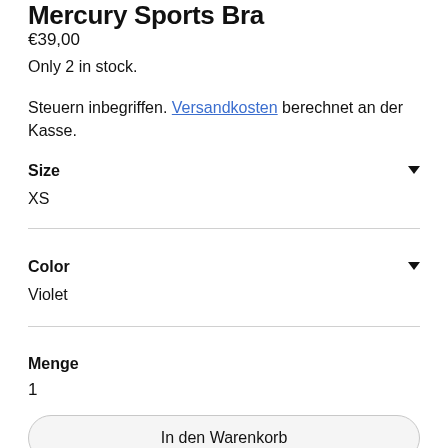Mercury Sports Bra
€39,00
Only 2 in stock.
Steuern inbegriffen. Versandkosten berechnet an der Kasse.
Size
XS
Color
Violet
Menge
1
In den Warenkorb